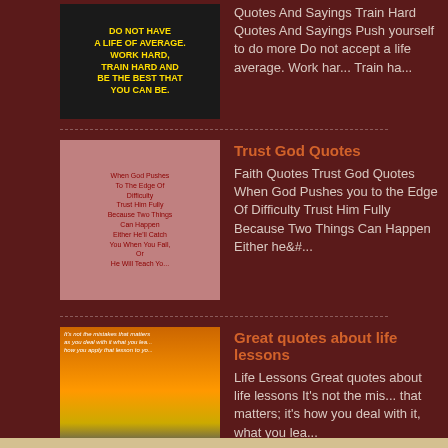Quotes And Sayings Train Hard Quotes And Sayings Push yourself to do more Do not accept a life average. Work hard, Train ha...
Trust God Quotes - Faith Quotes Trust God Quotes When God Pushes you to the Edge Of Difficulty Trust Him Fully Because Two Things Can Happen Either he&#...
Great quotes about life lessons - Life Lessons Great quotes about life lessons It's not the mistake that matters; it's how you deal with it, what you lea...
Own Inspiration
3207951325 FamousPositiveQuotes.blogspot.com
Gain Independent Quotes | Good Exam Quotes | Train Hard Gym Quotes